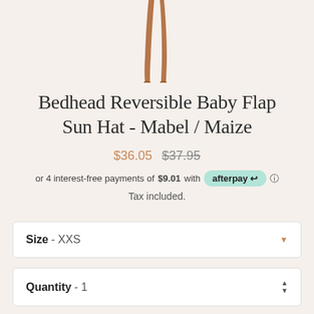[Figure (photo): Partial view of a mannequin or model legs wearing clothing, cropped at top of page against a light beige background]
Bedhead Reversible Baby Flap Sun Hat - Mabel / Maize
$36.05  $37.95
or 4 interest-free payments of $9.01 with afterpay  Tax included.